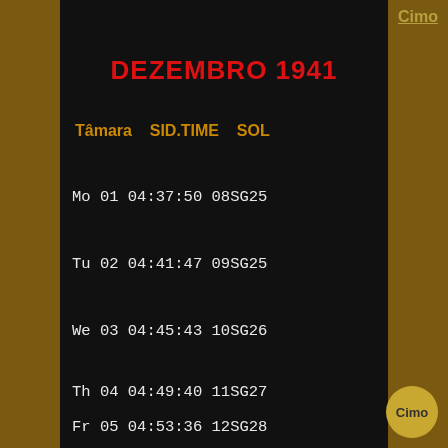Cimo
DEZEMBRO 1941
Tâmara   SID.TIME   SOL
Mo 01  04:37:50  08SG25
Tu 02  04:41:47  09SG25
We 03  04:45:43  10SG26
Th 04  04:49:40  11SG27
Fr 05  04:53:36  12SG28
Cimo